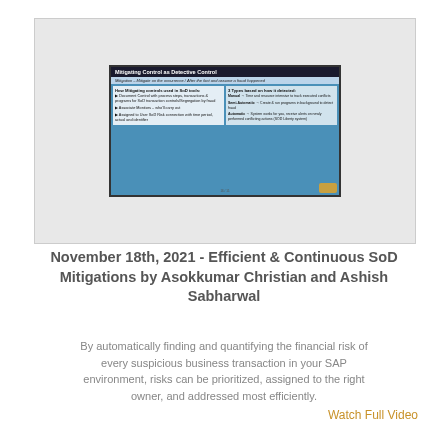[Figure (screenshot): Screenshot of a presentation slide titled 'Mitigating Control as Detective Control' showing information about mitigating controls used in SoD tools, types based on how detected, and manual/semi-automatic/automatic approaches.]
November 18th, 2021 - Efficient & Continuous SoD Mitigations by Asokkumar Christian and Ashish Sabharwal
By automatically finding and quantifying the financial risk of every suspicious business transaction in your SAP environment, risks can be prioritized, assigned to the right owner, and addressed most efficiently. Watch Full Video